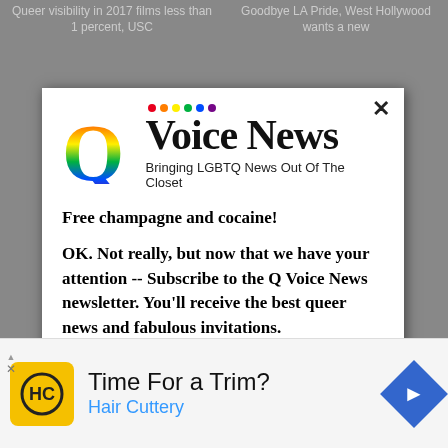Queer visibility in 2017 films less than 1 percent, USC
Goodbye LA Pride, West Hollywood wants a new
[Figure (logo): Q Voice News logo with rainbow Q, colorful dots, bold 'Voice News' text, and tagline 'Bringing LGBTQ News Out Of The Closet']
Free champagne and cocaine!
OK. Not really, but now that we have your attention -- Subscribe to the Q Voice News newsletter. You'll receive the best queer news and fabulous invitations.
nter your email
[Figure (logo): Hair Cuttery advertisement: HC logo on yellow square, 'Time For a Trim?' heading, 'Hair Cuttery' brand name in blue, blue diamond navigation icon on right]